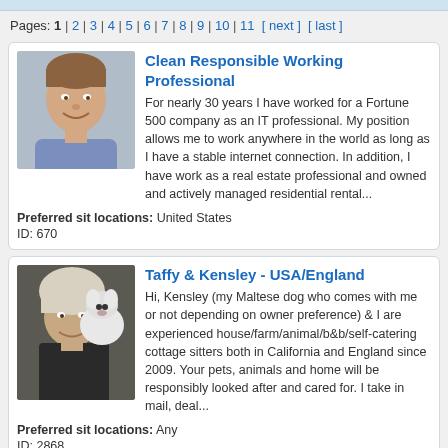Pages: 1 | 2 | 3 | 4 | 5 | 6 | 7 | 8 | 9 | 10 | 11 [ next ] [ last ]
[Figure (photo): Headshot of a smiling man in a blue plaid shirt]
Clean Responsible Working Professional
For nearly 30 years I have worked for a Fortune 500 company as an IT professional. My position allows me to work anywhere in the world as long as I have a stable internet connection. In addition, I have work as a real estate professional and owned and actively managed residential rental...
Preferred sit locations: United States
ID: 670
[Figure (photo): Photo of a woman holding a small white Maltese dog]
Taffy & Kensley - USA/England
Hi, Kensley (my Maltese dog who comes with me or not depending on owner preference) & I are experienced house/farm/animal/b&b/self-catering cottage sitters both in California and England since 2009. Your pets, animals and home will be responsibly looked after and cared for. I take in mail, deal...
Preferred sit locations: Any
ID: 2868